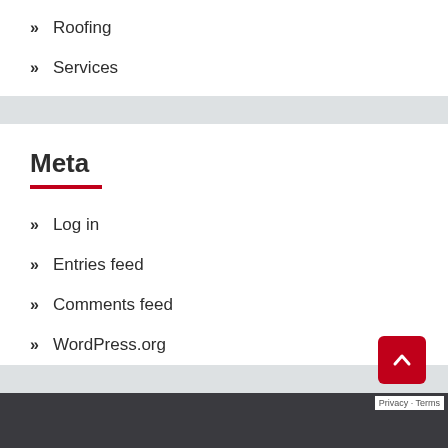» Roofing
» Services
Meta
» Log in
» Entries feed
» Comments feed
» WordPress.org
Privacy · Terms